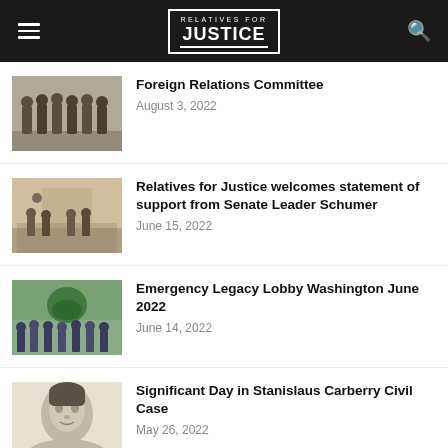RELATIVES FOR JUSTICE
Foreign Relations Committee
August 3, 2022
Relatives for Justice welcomes statement of support from Senate Leader Schumer
June 15, 2022
Emergency Legacy Lobby Washington June 2022
June 14, 2022
Significant Day in Stanislaus Carberry Civil Case
May 26, 2022
Letter to Boris Johnson regarding Bill of Shame